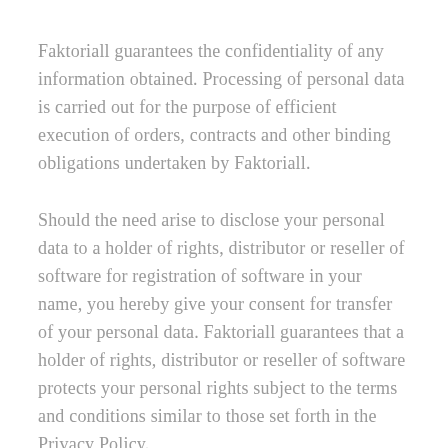Faktoriall guarantees the confidentiality of any information obtained. Processing of personal data is carried out for the purpose of efficient execution of orders, contracts and other binding obligations undertaken by Faktoriall.
Should the need arise to disclose your personal data to a holder of rights, distributor or reseller of software for registration of software in your name, you hereby give your consent for transfer of your personal data. Faktoriall guarantees that a  holder of rights, distributor or reseller of software protects your personal rights subject to the terms and conditions similar to those set forth in the Privacy Policy.
Consent is given to the processing of the following personal data: full name, contact phone numbers,